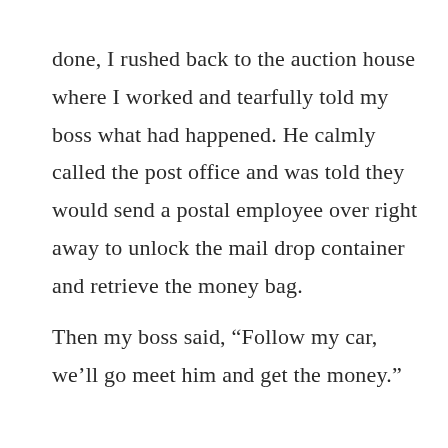done, I rushed back to the auction house where I worked and tearfully told my boss what had happened. He calmly called the post office and was told they would send a postal employee over right away to unlock the mail drop container and retrieve the money bag.

Then my boss said, “Follow my car, we’ll go meet him and get the money.”